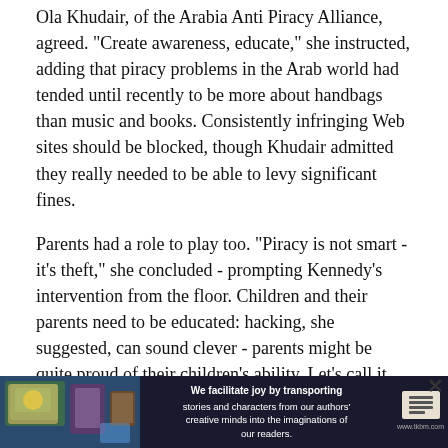Ola Khudair, of the Arabia Anti Piracy Alliance, agreed. "Create awareness, educate," she instructed, adding that piracy problems in the Arab world had tended until recently to be more about handbags than music and books. Consistently infringing Web sites should be blocked, though Khudair admitted they really needed to be able to levy significant fines.
Parents had a role to play too. "Piracy is not smart - it's theft," she concluded - prompting Kennedy's intervention from the floor. Children and their parents need to be educated: hacking, she suggested, can sound clever - parents might be quite proud of their children's ability. Let's call it what it is: stealing. People who engage in piracy are "stealing the future and stealing jobs. Unemployment is high in the Middle East because no one wants to invest. The government needs to take action and support is needed from rights holders. we must educate the public."
An update on Sharjah's smart learning plans, adoption of which has begun in the UAE, opened the proceedings. It included a contribution by Sheikha Bodour Bint Sultan Al Qasimi, whose energy and vision has done much to drive the tranformation of
[Figure (infographic): Advertisement banner at bottom of page. Dark blue background with illustrated book/character imagery on left, white text in center reading 'We facilitate joy by transporting stories and characters from our authors' creative minds into the imaginations of our readers.' Logo/icon on right side. Close button (X) in upper right corner.]